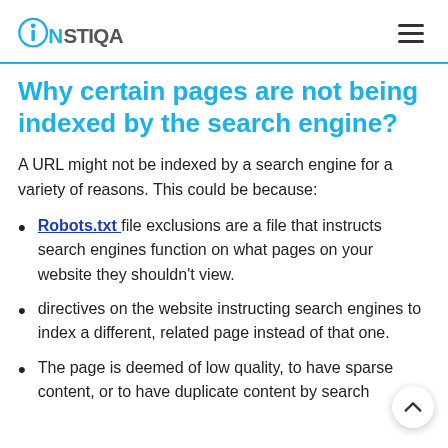INSTIQA
Why certain pages are not being indexed by the search engine?
A URL might not be indexed by a search engine for a variety of reasons. This could be because:
Robots.txt file exclusions are a file that instructs search engines function on what pages on your website they shouldn't view.
directives on the website instructing search engines to index a different, related page instead of that one.
The page is deemed of low quality, to have sparse content, or to have duplicate content by search